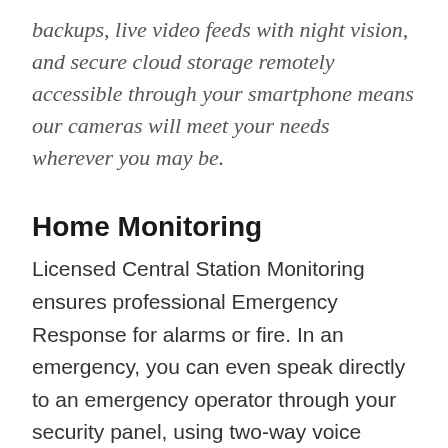backups, live video feeds with night vision, and secure cloud storage remotely accessible through your smartphone means our cameras will meet your needs wherever you may be.
Home Monitoring
Licensed Central Station Monitoring ensures professional Emergency Response for alarms or fire. In an emergency, you can even speak directly to an emergency operator through your security panel, using two-way voice communication. This is key for obtaining an actual police response to alarms in Clark County. Operators are there for you 24 hours a day, 365 days a year should you